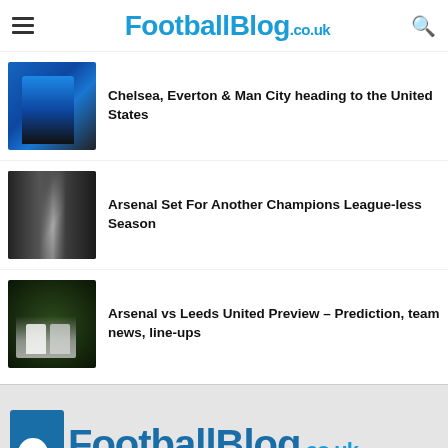FootballBlog.co.uk
Chelsea, Everton & Man City heading to the United States
Arsenal Set For Another Champions League-less Season
Arsenal vs Leeds United Preview – Prediction, team news, line-ups
FootballBlog.co.uk